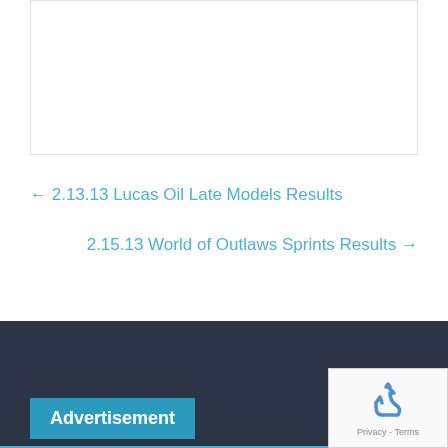[Figure (other): White box/card area at the top of the page]
← 2.13.13 Lucas Oil Late Models Results
2.15.13 World of Outlaws Sprints Results →
Advertisement
[Figure (other): reCAPTCHA widget with recycling arrows icon and Privacy - Terms text]